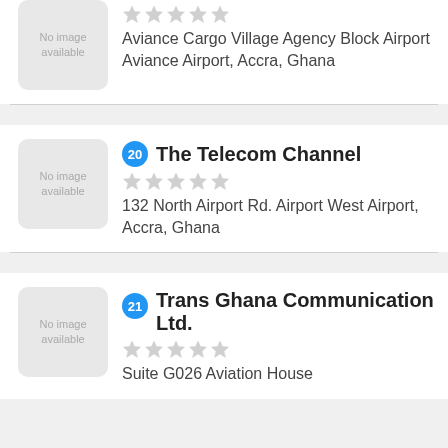[Figure (other): No image available placeholder for first listing]
Aviance Cargo Village Agency Block Airport Aviance Airport, Accra, Ghana
[Figure (other): No image available placeholder for listing 20]
20 The Telecom Channel
132 North Airport Rd. Airport West Airport, Accra, Ghana
[Figure (other): No image available placeholder for listing 21]
21 Trans Ghana Communication Ltd.
Suite G026 Aviation House